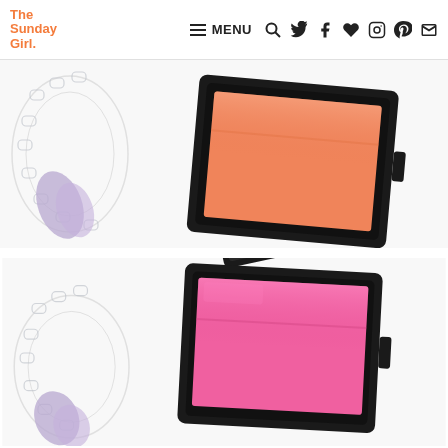The Sunday Girl. — MENU navigation with search, twitter, facebook, heart, instagram, pinterest, email icons
[Figure (photo): Top-down flat lay of an open black compact blush in a square case showing a peach/coral colored pressed powder blush, alongside a crystal decorative frame and a lilac/purple makeup brush on a white background]
[Figure (photo): Top-down flat lay of an open black compact blush in a square case showing a hot pink/fuchsia colored pressed powder blush with a lid propped open, alongside a crystal decorative frame and a lilac/purple makeup brush on a white background]